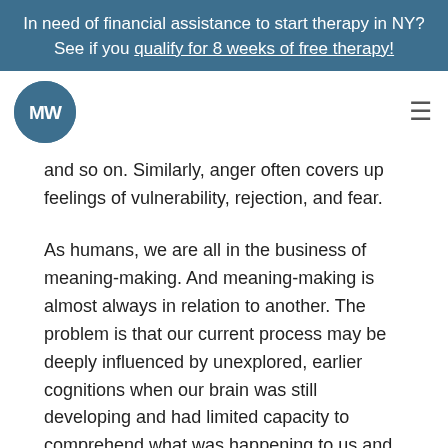In need of financial assistance to start therapy in NY? See if you qualify for 8 weeks of free therapy!
[Figure (logo): MW logo circle in teal/blue with stylized MW text]
and so on. Similarly, anger often covers up feelings of vulnerability, rejection, and fear.
As humans, we are all in the business of meaning-making. And meaning-making is almost always in relation to another. The problem is that our current process may be deeply influenced by unexplored, earlier cognitions when our brain was still developing and had limited capacity to comprehend what was happening to us and around us. As children, when we would cry, get angry, or express exuberance, our parent/parents had a reaction based on their family history. We learned from their verbal and nonverbal reactions which expressions were